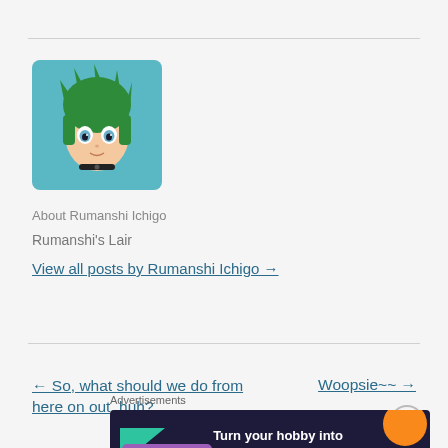[Figure (illustration): Anime-style avatar with green spiky hair and blue eyes on a teal background, rounded square frame]
About Rumanshi Ichigo
Rumanshi's Lair
View all posts by Rumanshi Ichigo →
← So, what should we do from here on out, huh?
Woopsie~~ →
Advertisements
[Figure (screenshot): WooCommerce advertisement banner: dark navy background with colorful geometric shapes, text reads 'Turn your hobby into a business in 8 steps']